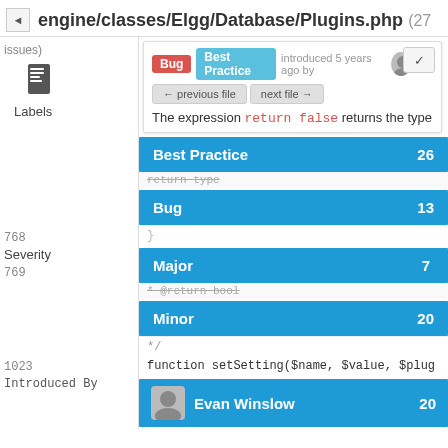engine/classes/Elgg/Database/Plugins.php (27 issues)
[Figure (screenshot): Code review annotation panel showing Bug and Best Practice tags, introduced 5 years ago, with navigation buttons (previous file / next file), and code preview showing 'return false']
Labels
Best Practice 26
Bug 13
768  }
769
Severity
Major 7
Minor 20
1023  */
1024  function setSetting($name, $value, $plug
Introduced By
Evan Winslow 20
Steve Clay 6